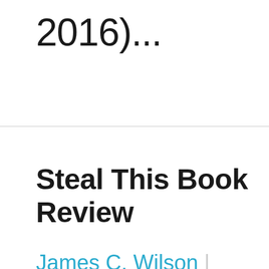2016)...
Steal This Book Review
James C. Wilson | September 9th,